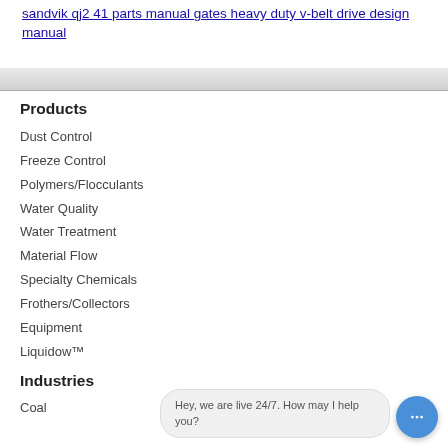sandvik qj2 41 parts manual gates heavy duty v-belt drive design manual
Products
Dust Control
Freeze Control
Polymers/Flocculants
Water Quality
Water Treatment
Material Flow
Specialty Chemicals
Frothers/Collectors
Equipment
Liquidow™
Industries
Coal